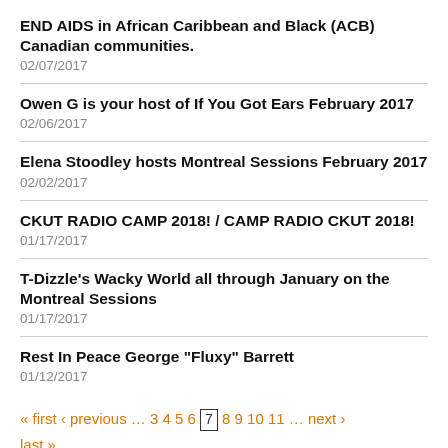END AIDS in African Caribbean and Black (ACB) Canadian communities.
02/07/2017
Owen G is your host of If You Got Ears February 2017
02/06/2017
Elena Stoodley hosts Montreal Sessions February 2017
02/02/2017
CKUT RADIO CAMP 2018! / CAMP RADIO CKUT 2018!
01/17/2017
T-Dizzle's Wacky World all through January on the Montreal Sessions
01/17/2017
Rest In Peace George "Fluxy" Barrett
01/12/2017
« first ‹ previous … 3 4 5 6 [7] 8 9 10 11 … next › last »